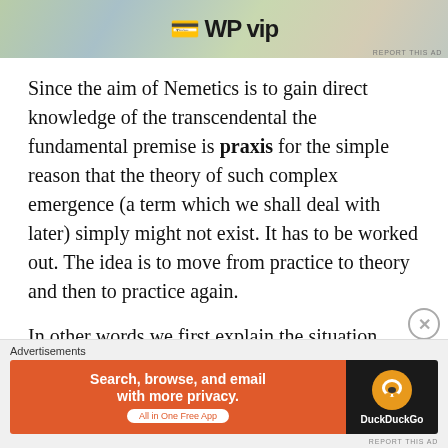[Figure (other): Top advertisement banner with gradient background showing WP VIP and other brand logos]
Since the aim of Nemetics is to gain direct knowledge of the transcendental the fundamental premise is praxis for the simple reason that the theory of such complex emergence (a term which we shall deal with later) simply might not exist. It has to be worked out. The idea is to move from practice to theory and then to practice again.
In other words we first explain the situation, then act upon it and then only predict the outcome as a way of
[Figure (other): DuckDuckGo advertisement banner: Search, browse, and email with more privacy. All in One Free App]
REPORT THIS AD